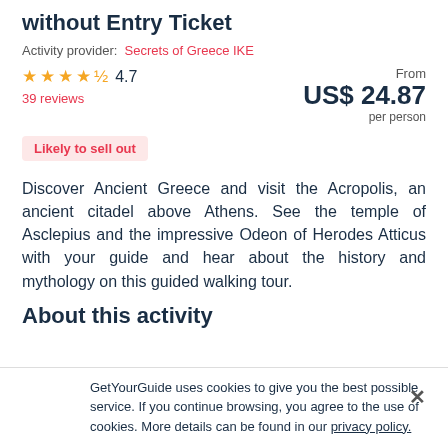without Entry Ticket
Activity provider: Secrets of Greece IKE
★★★★½ 4.7 — 39 reviews — From US$ 24.87 per person
Likely to sell out
Discover Ancient Greece and visit the Acropolis, an ancient citadel above Athens. See the temple of Asclepius and the impressive Odeon of Herodes Atticus with your guide and hear about the history and mythology on this guided walking tour.
About this activity
GetYourGuide uses cookies to give you the best possible service. If you continue browsing, you agree to the use of cookies. More details can be found in our privacy policy.